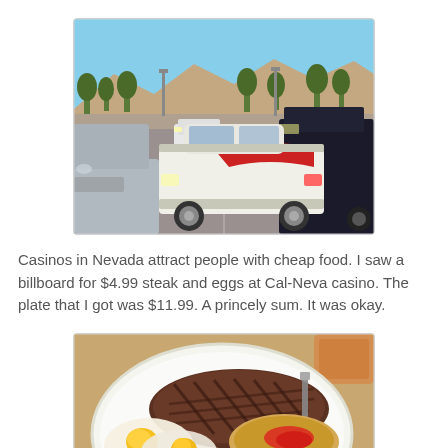[Figure (photo): A parking lot scene showing a classic white and red muscle car (1970s style) parked among modern vehicles, with mountains and trees visible in the background under a blue sky.]
Casinos in Nevada attract people with cheap food. I saw a billboard for $4.99 steak and eggs at Cal-Neva casino. The plate that I got was $11.99. A princely sum. It was okay.
[Figure (photo): A plate of steak and eggs at Cal-Neva casino, showing a grilled steak with cross-hatch marks, fried eggs, hash browns with ketchup, on a white plate.]